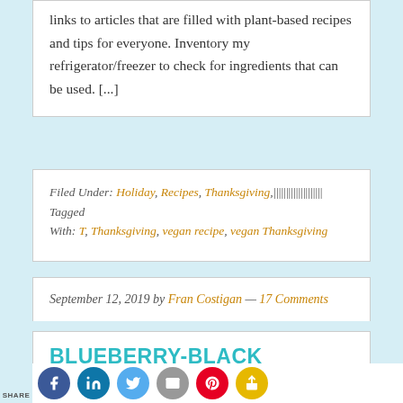links to articles that are filled with plant-based recipes and tips for everyone. Inventory my refrigerator/freezer to check for ingredients that can be used. [...]
Filed Under: Holiday, Recipes, Thanksgiving, Tagged With: T, Thanksgiving, vegan recipe, vegan Thanksgiving
September 12, 2019 by Fran Costigan — 17 Comments
BLUEBERRY-BLACK CURRANT TRUFFLES FROM LAGUSTA